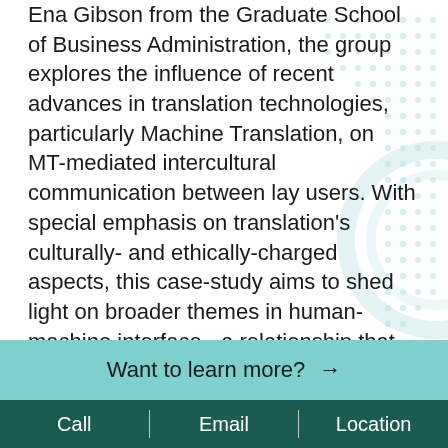Ena Gibson from the Graduate School of Business Administration, the group explores the influence of recent advances in translation technologies, particularly Machine Translation, on MT-mediated intercultural communication between lay users. With special emphasis on translation's culturally- and ethically-charged aspects, this case-study aims to shed light on broader themes in human-machine interface - a relationship that seems destined to define much of social life in the 21st century.

Its 2021 international symposium focused on the lay use and perceptions of machine translation.
Want to learn more? →
Call | Email | Location